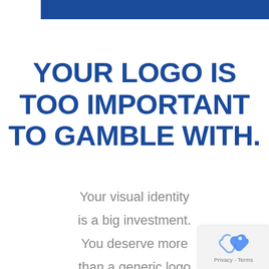[Figure (other): Dark blue horizontal banner bar at the top of the page]
YOUR LOGO IS TOO IMPORTANT TO GAMBLE WITH.
Your visual identity is a big investment. You deserve more than a generic logo that's easy to overlook. You deserve a thoughtful
[Figure (other): reCAPTCHA badge in bottom-right corner showing a puzzle-piece icon and Privacy - Terms text]